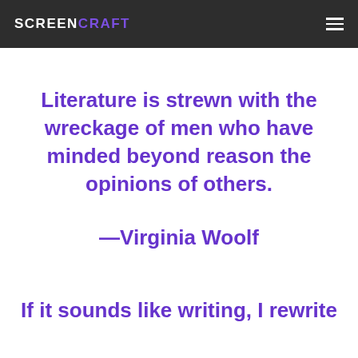SCREENCRAFT
Literature is strewn with the wreckage of men who have minded beyond reason the opinions of others.
—Virginia Woolf
If it sounds like writing, I rewrite